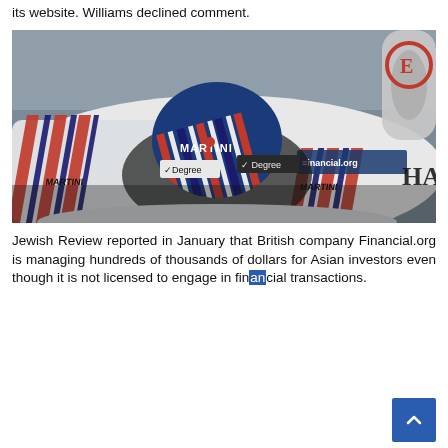its website. Williams declined comment.
[Figure (photo): A Formula 1 racing car with Martini livery (white with red and dark blue stripes), featuring a driver in a blue helmet with Martini branding. Sponsorship logos visible include Martini, Degree, Financial.org, and HAG. The image is a close-up cockpit shot.]
Jewish Review reported in January that British company Financial.org is managing hundreds of thousands of dollars for Asian investors even though it is not licensed to engage in financial transactions.